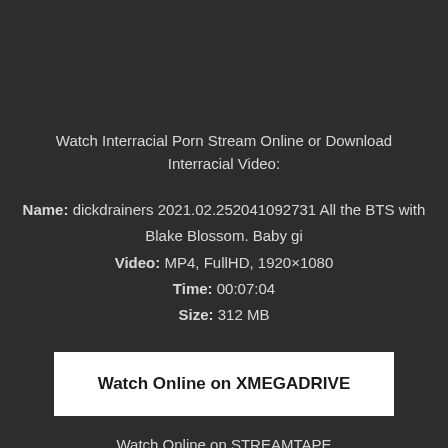Watch Interracial Porn Stream Online or Download Interracial Video:
Name: dickdrainers 2021.02.252041092731 All the BTS with Blake Blossom. Baby gi
Video: MP4, FullHD, 1920×1080
Time: 00:07:04
Size: 312 MB
Watch Online on XMEGADRIVE
Watch Online on STREAMTAPE